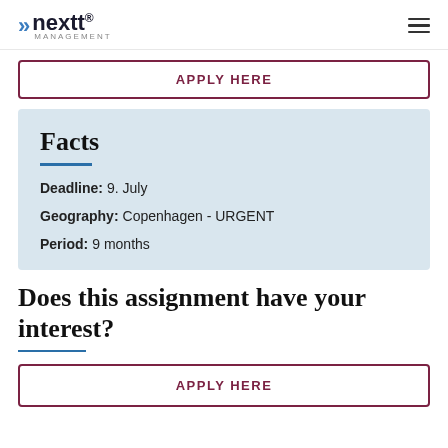nextt® MANAGEMENT
APPLY HERE
Facts
Deadline: 9. July
Geography: Copenhagen - URGENT
Period: 9 months
Does this assignment have your interest?
APPLY HERE